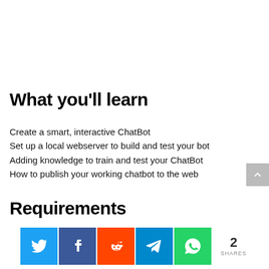What you'll learn
Create a smart, interactive ChatBot
Set up a local webserver to build and test your bot
Adding knowledge to train and test your ChatBot
How to publish your working chatbot to the web
Requirements
[Figure (infographic): Social share bar with Twitter, Facebook, Reddit, Telegram, WhatsApp icons and a share count of 2]